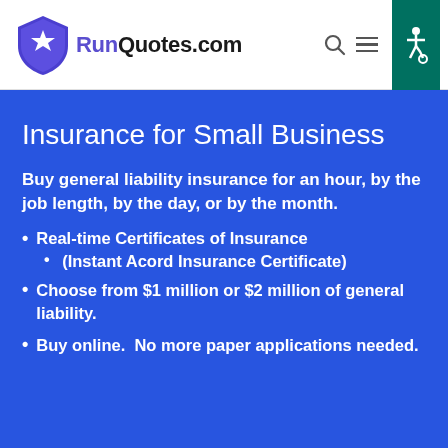RunQuotes.com
Insurance for Small Business
Buy general liability insurance for an hour, by the job length, by the day, or by the month.
Real-time Certificates of Insurance
(Instant Acord Insurance Certificate)
Choose from $1 million or $2 million of general liability.
Buy online.  No more paper applications needed.